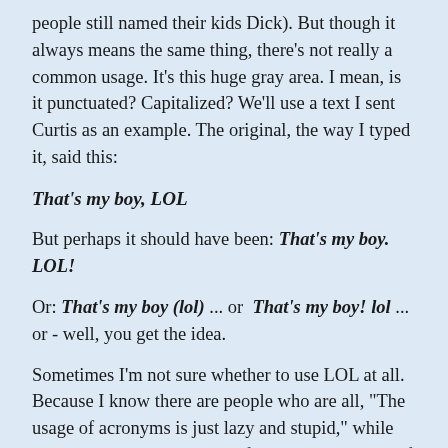people still named their kids Dick). But though it always means the same thing, there's not really a common usage. It's this huge gray area. I mean, is it punctuated? Capitalized? We'll use a text I sent Curtis as an example. The original, the way I typed it, said this:
That's my boy, LOL
But perhaps it should have been: That's my boy. LOL!
Or: That's my boy (lol) ... or  That's my boy! lol ... or - well, you get the idea.
Sometimes I'm not sure whether to use LOL at all. Because I know there are people who are all, "The usage of acronyms is just lazy and stupid," while they adjust their glasses and flip to the next page of their Nietzsche novel or polish their globe or say words like sesquipedalian. So when I'm talking to such people, if I